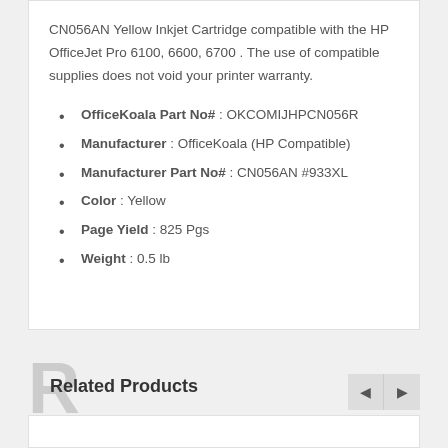CN056AN Yellow Inkjet Cartridge compatible with the HP OfficeJet Pro 6100, 6600, 6700 . The use of compatible supplies does not void your printer warranty.
OfficeKoala Part No# : OKCOMIJHPCN056R
Manufacturer : OfficeKoala (HP Compatible)
Manufacturer Part No# : CN056AN #933XL
Color : Yellow
Page Yield : 825 Pgs
Weight : 0.5 lb
Related Products